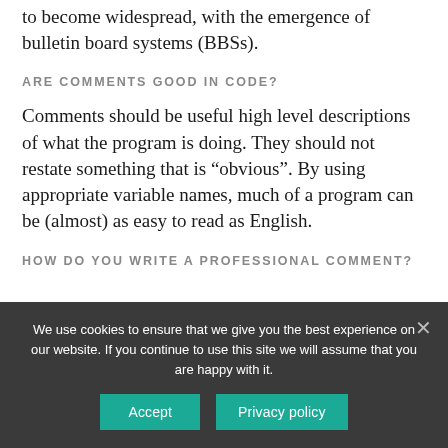to become widespread, with the emergence of bulletin board systems (BBSs).
ARE COMMENTS GOOD IN CODE?
Comments should be useful high level descriptions of what the program is doing. They should not restate something that is “obvious”. By using appropriate variable names, much of a program can be (almost) as easy to read as English.
HOW DO YOU WRITE A PROFESSIONAL COMMENT?
We use cookies to ensure that we give you the best experience on our website. If you continue to use this site we will assume that you are happy with it.
Accept
Privacy policy